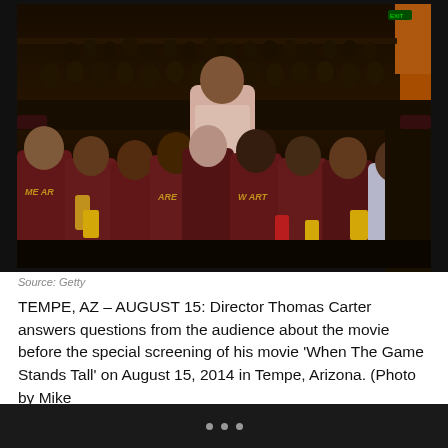[Figure (photo): Group photo inside a movie theater. A man in a pink shirt (Director Thomas Carter) stands at the center back surrounded by children wearing maroon t-shirts with tiger logos. The theater seats and audience are visible in the background. An orange accent panel is visible in the upper right corner.]
Source: Getty
TEMPE, AZ – AUGUST 15: Director Thomas Carter answers questions from the audience about the movie before the special screening of his movie ‘When The Game Stands Tall’ on August 15, 2014 in Tempe, Arizona. (Photo by Mike